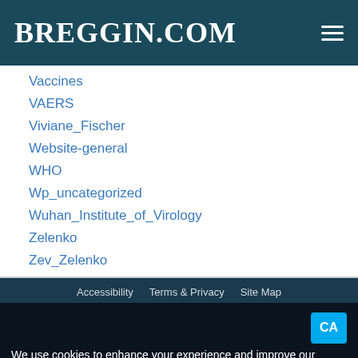BREGGIN.COM
Vaccines
VAERS
Viviane_Fischer
Website-general
WHO
Wp_uncategorized
Wuhan_Institute_of_Virology
Zelenko
Zev_Zelenko
Accessibility   Terms & Privacy   Site Map
We use cookies to enhance your experience and improve our services and our website's functionality. By continuing to use our website, including remaining on the landing page, you consent to our use of cookies.
206A Dryden Rd PMB 117 Ithaca NY 14850